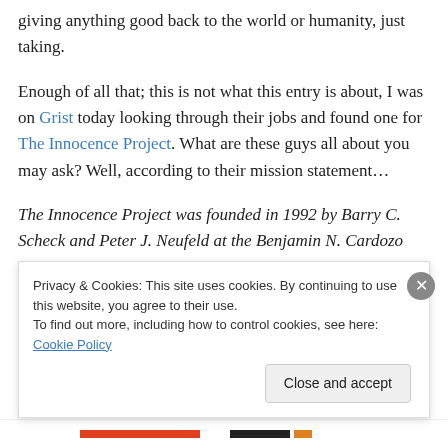giving anything good back to the world or humanity, just taking.
Enough of all that; this is not what this entry is about, I was on Grist today looking through their jobs and found one for The Innocence Project. What are these guys all about you may ask? Well, according to their mission statement…
The Innocence Project was founded in 1992 by Barry C. Scheck and Peter J. Neufeld at the Benjamin N. Cardozo School of Law at Yeshiva University to assist prisoners who could be proven innocent through DNA testing. To
Privacy & Cookies: This site uses cookies. By continuing to use this website, you agree to their use.
To find out more, including how to control cookies, see here: Cookie Policy